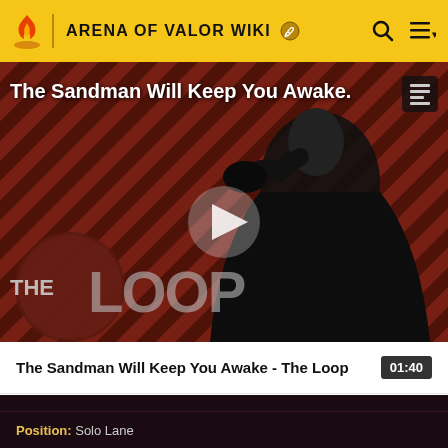ARENA OF VALOR WIKI
[Figure (screenshot): Video thumbnail for 'The Sandman Will Keep You Awake - The Loop' showing a dark figure in a cape against a red and black diagonal striped background with THE LOOP logo and a play button in the center]
The Sandman Will Keep You Awake - The Loop  01:40
|  |
| Position: Solo Lane |
| Advantages: Her ult makes her regenerate a lot of HP, very |